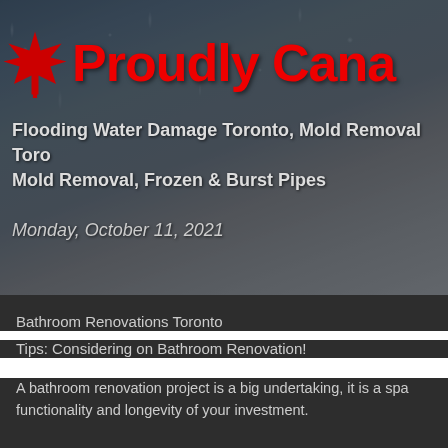[Figure (photo): Hero banner with rainy glass background image, dark grey-blue stormy sky tones]
Proudly Cana[dian]
Flooding Water Damage Toronto, Mold Removal Toro[nto], Mold Removal, Frozen & Burst Pipes
Monday, October 11, 2021
Bathroom Renovations Toronto
Tips: Considering on Bathroom Renovation!
A bathroom renovation project is a big undertaking, it is a spa[ce that requires...] functionality and longevity of your investment.